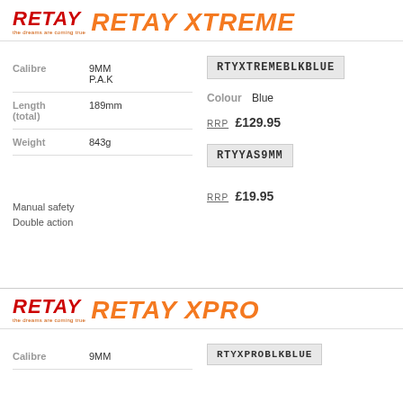RETAY XTREME
| Spec | Value |
| --- | --- |
| Calibre | 9MM P.A.K |
| Length (total) | 189mm |
| Weight | 843g |
Manual safety
Double action
RTYXTREMEBLKBLUE
Colour  Blue
RRP £129.95
RTYYAS9MM
RRP £19.95
RETAY XPRO
RTYXPROBLKBLUE
| Spec | Value |
| --- | --- |
| Calibre | 9MM |